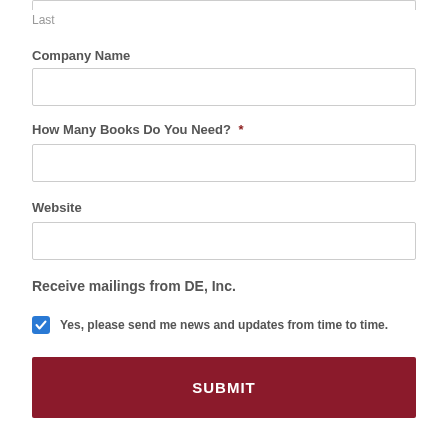Last
Company Name
How Many Books Do You Need?  *
Website
Receive mailings from DE, Inc.
Yes, please send me news and updates from time to time.
SUBMIT